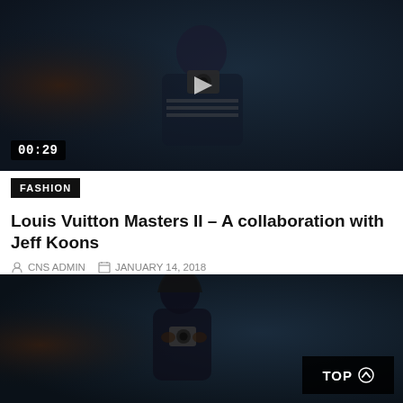[Figure (photo): Video thumbnail showing a person holding a camera in a dark blue setting, with a play button overlay and a 00:29 timestamp badge in the lower left.]
FASHION
Louis Vuitton Masters II – A collaboration with Jeff Koons
CNS ADMIN   JANUARY 14, 2018
0   1.8K   441   0
[Figure (photo): Photograph of a person in dark clothing holding a camera, dark blue background. A 'TOP' button with an arrow is shown in the bottom right corner.]